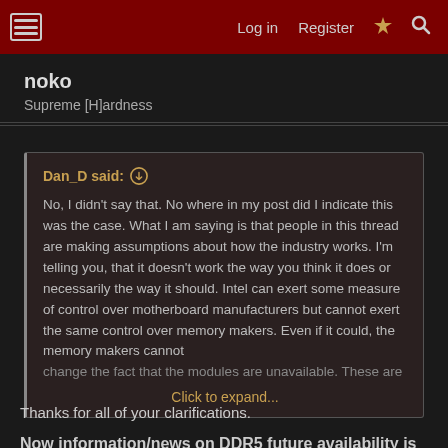Log in  Register
noko
Supreme [H]ardness
Dan_D said:
No, I didn't say that. No where in my post did I indicate this was the case. What I am saying is that people in this thread are making assumptions about how the industry works. I'm telling you, that it doesn't work the way you think it does or necessarily the way it should. Intel can exert some measure of control over motherboard manufacturers but cannot exert the same control over memory makers. Even if it could, the memory makers cannot change the fact that the modules are unavailable. These are
Click to expand...
Thanks for all of your clarifications.
Now information/news on DDR5 future availability is also lacking. That would help one decide on getting parts now or waiting is a better option besides all the others. AMD vs. Intel at this stage is looking much better for a launch in